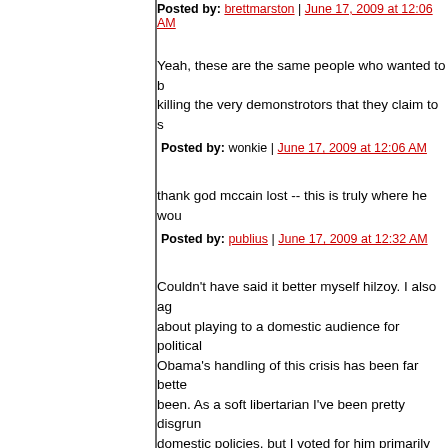Posted by: brettmarston | June 17, 2009 at 12:06 AM
Yeah, these are the same people who wanted to b[e] killing the very demonstrotors that they claim to s[upport].
Posted by: wonkie | June 17, 2009 at 12:06 AM
thank god mccain lost -- this is truly where he wou[ld have taken us].
Posted by: publius | June 17, 2009 at 12:32 AM
Couldn't have said it better myself hilzoy. I also ag[ree] about playing to a domestic audience for political[...] Obama's handling of this crisis has been far bette[r than it would have] been. As a soft libertarian I've been pretty disgrun[tled with his] domestic policies, but I voted for him primarily ou[t of belief he would] represent a vast improvement over Bush Republi[canism,] and this has vindicated that belief.
Posted by: Xeynon | June 17, 2009 at 12:50 AM